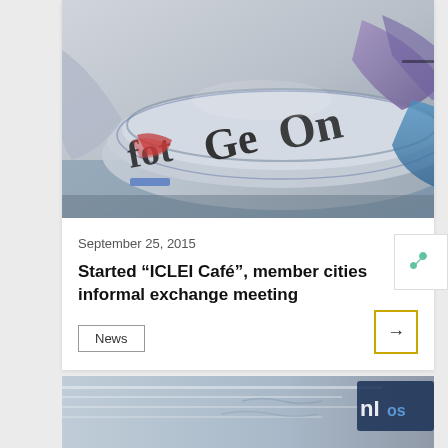[Figure (photo): Close-up photo of rolled and folded newspapers, showing partial text 'fot', 'Ge', 'On' on the newspaper edges, with blue and purple tones.]
September 25, 2015
Started “ICLEI Café”, member cities informal exchange meeting
News
[Figure (photo): Partial bottom card showing another newspaper photo, partially cut off at bottom of page.]